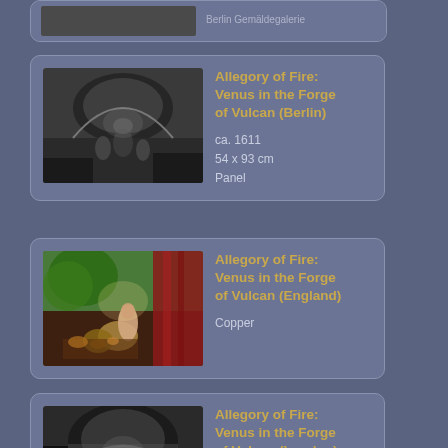[Figure (other): Partial card at top of page, cut off - artwork image (black and white, cave/forge scene)]
Allegory of Fire: Venus in the Forge of Vulcan (Berlin)
ca. 1611
54 x 93 cm
Panel
[Figure (photo): Color painting - Allegory of Fire: Venus in the Forge of Vulcan (England), lush scene with red drapes and figures]
Allegory of Fire: Venus in the Forge of Vulcan (England)
Copper
[Figure (photo): Black and white painting - Allegory of Fire: Venus in the Forge of Vulcan (London), cave/forge scene]
Allegory of Fire: Venus in the Forge of Vulcan (London)
1610